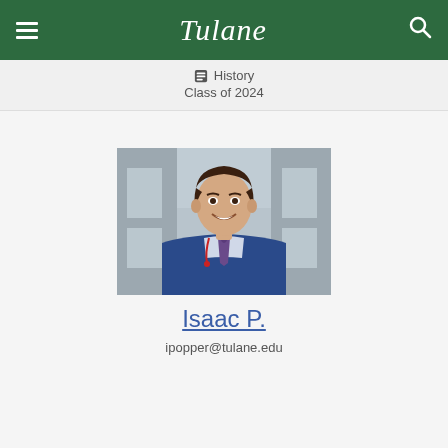Tulane
History
Class of 2024
[Figure (photo): Headshot of a young man in a blue suit and purple tie, smiling, with a building background]
Isaac P.
ipopper@tulane.edu